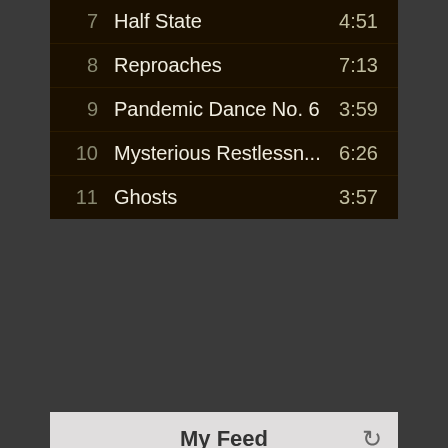[Figure (screenshot): Music app tracklist showing tracks 7-11: Half State 4:51, Reproaches 7:13, Pandemic Dance No. 6 3:59, Mysterious Restlessn... 6:26, Ghosts 3:57, on dark brown background]
[Figure (screenshot): Social feed widget titled My Feed showing a tweet post from GenePritsker about Theres Not Enough Pain In The World with a link, posted 8 days ago, with share icons and a blue FAB button]